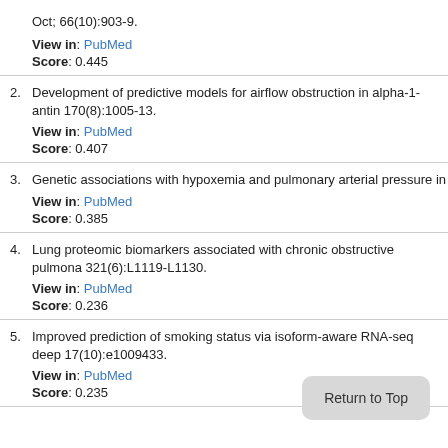Oct; 66(10):903-9.
View in: PubMed
Score: 0.445
2. Development of predictive models for airflow obstruction in alpha-1-antit… 170(8):1005-13.
View in: PubMed
Score: 0.407
3. Genetic associations with hypoxemia and pulmonary arterial pressure in…
View in: PubMed
Score: 0.385
4. Lung proteomic biomarkers associated with chronic obstructive pulmona… 321(6):L1119-L1130.
View in: PubMed
Score: 0.236
5. Improved prediction of smoking status via isoform-aware RNA-seq deep… 17(10):e1009433.
View in: PubMed
Score: 0.235